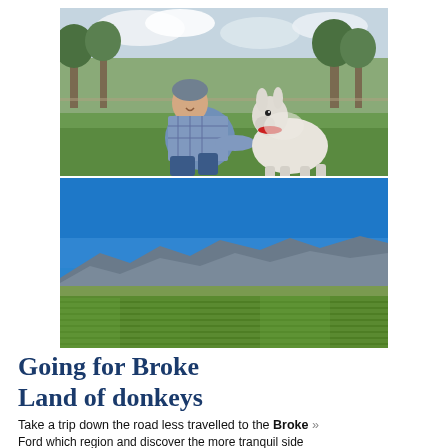[Figure (photo): Woman in blue beanie kneeling beside a small white donkey on green grass, with eucalyptus trees and cloudy sky in background.]
[Figure (photo): Panoramic landscape photo of a vineyard or farmland with mountains in the background under a vivid blue sky.]
Going for Broke
Land of donkeys
Take a trip down the road less travelled to the Broke »
Ford which region and discover the more tranquil side